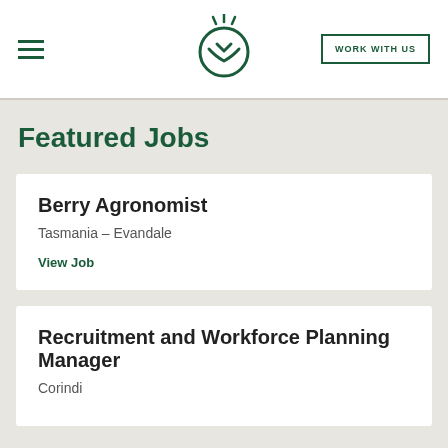WORK WITH US
Featured Jobs
Berry Agronomist
Tasmania – Evandale
View Job
Recruitment and Workforce Planning Manager
Corindi